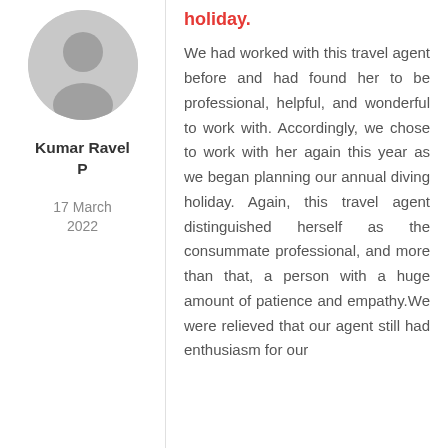[Figure (illustration): Circular avatar placeholder with a grey silhouette of a person (head and shoulders) on a grey background]
Kumar Ravel P
17 March 2022
holiday.
We had worked with this travel agent before and had found her to be professional, helpful, and wonderful to work with. Accordingly, we chose to work with her again this year as we began planning our annual diving holiday. Again, this travel agent distinguished herself as the consummate professional, and more than that, a person with a huge amount of patience and empathy.We were relieved that our agent still had enthusiasm for our